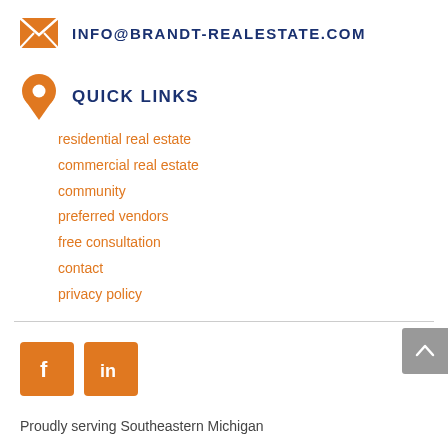INFO@BRANDT-REALESTATE.COM
QUICK LINKS
residential real estate
commercial real estate
community
preferred vendors
free consultation
contact
privacy policy
[Figure (logo): Facebook icon square orange button]
[Figure (logo): LinkedIn icon square orange button]
Proudly serving Southeastern Michigan